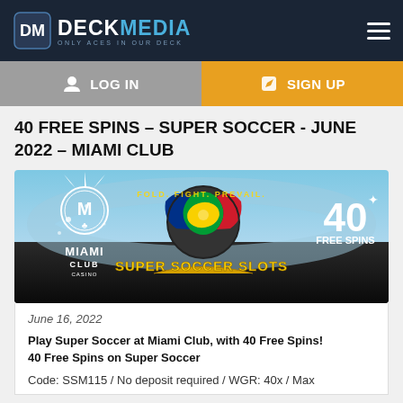DECK MEDIA – ONLY ACES IN OUR DECK
LOG IN  SIGN UP
40 FREE SPINS – SUPER SOCCER - JUNE 2022 – MIAMI CLUB
[Figure (illustration): Miami Club casino promotional banner showing Super Soccer Slots with a soccer ball made of country flags, Miami Club logo, and '40 FREE SPINS' text on the right]
June 16, 2022
Play Super Soccer at Miami Club, with 40 Free Spins! 40 Free Spins on Super Soccer
Code: SSM115 / No deposit required / WGR: 40x / Max